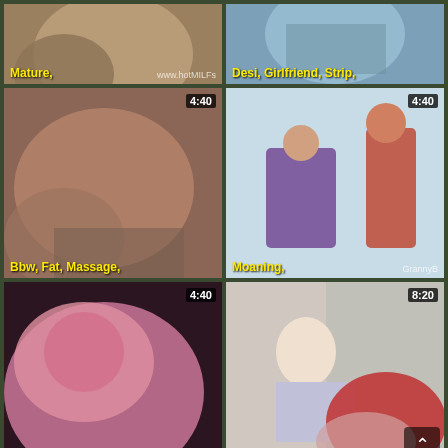[Figure (screenshot): Video thumbnail grid - top left: Mature category thumbnail with watermark www.hotMILFs]
[Figure (screenshot): Video thumbnail - Desi, Girlfriend, Strip tags]
[Figure (screenshot): Video thumbnail 4:40 - Bbw, Fat, Massage tags]
[Figure (screenshot): Video thumbnail 4:40 - Moaning tag, GrannyB watermark]
[Figure (screenshot): Video thumbnail 4:40 - Solo tag, woman in pink bikini]
[Figure (screenshot): Video thumbnail 8:20 - Tight tag, BRAZZERS watermark, scroll up button]
[Figure (screenshot): Video thumbnail 5:15 - bottom left]
[Figure (screenshot): Video thumbnail 0:06 - bottom right]